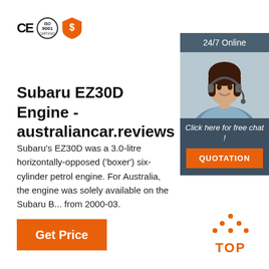[Figure (logo): CE mark, ISO 9001 circular badge, and orange shield with dollar sign badge]
[Figure (infographic): 24/7 Online chat widget with agent photo, 'Click here for free chat!' text, and orange QUOTATION button]
Subaru EZ30D Engine - australiancar.reviews
Subaru's EZ30D was a 3.0-litre horizontally-opposed ('boxer') six-cylinder petrol engine. For Austra... engine was solely available on the Subaru B... from 2000-03.
[Figure (other): Orange 'Get Price' button]
[Figure (logo): Orange TOP badge with dots forming a triangle above the word TOP]